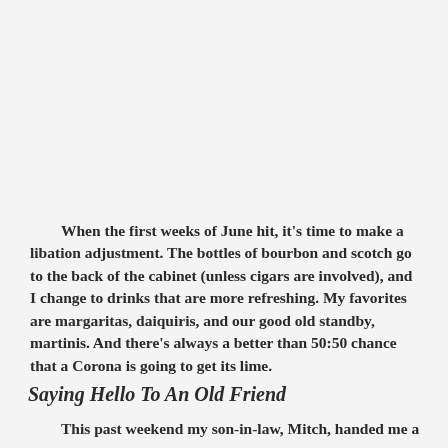When the first weeks of June hit, it's time to make a libation adjustment. The bottles of bourbon and scotch go to the back of the cabinet (unless cigars are involved), and I change to drinks that are more refreshing. My favorites are margaritas, daiquiris, and our good old standby, martinis. And there's always a better than 50:50 chance that a Corona is going to get its lime.
Saying Hello To An Old Friend
This past weekend my son-in-law, Mitch, handed me a